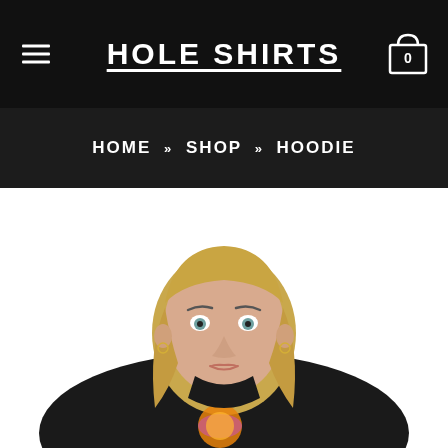HOLE SHIRTS
HOME » SHOP » HOODIE
[Figure (photo): A young woman with blonde hair wearing a black sweatshirt/hoodie with a colorful graphic print on the chest. She is looking directly at the camera against a white background.]